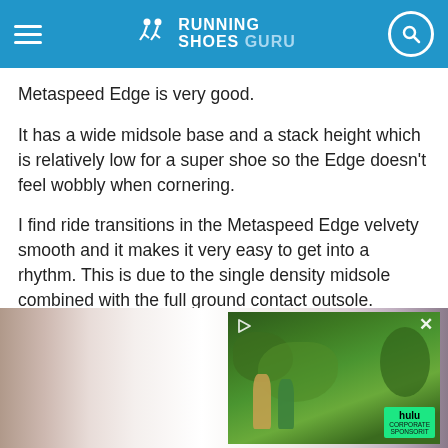Running Shoes Guru
Metaspeed Edge is very good.
It has a wide midsole base and a stack height which is relatively low for a super shoe so the Edge doesn’t feel wobbly when cornering.
I find ride transitions in the Metaspeed Edge velvety smooth and it makes it very easy to get into a rhythm. This is due to the single density midsole combined with the full ground contact outsole.
[Figure (screenshot): A video advertisement overlay showing a Hulu corporate sponsorship ad with outdoor garden scene and two people, with play button and close (X) button visible]